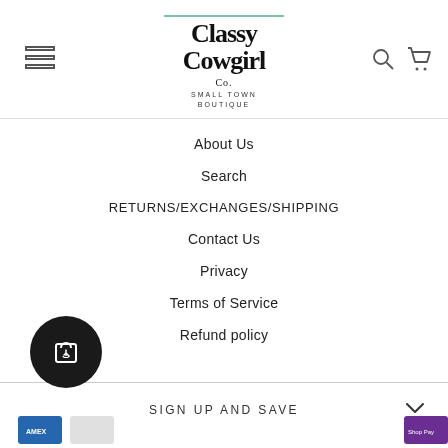[Figure (logo): Classy Cowgirl Co. Small Town Boutique logo in decorative black script font]
About Us
Search
RETURNS/EXCHANGES/SHIPPING
Contact Us
Privacy
Terms of Service
Refund policy
SIGN UP AND SAVE